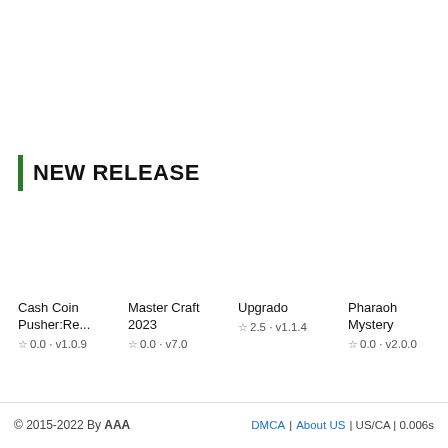NEW RELEASE
Cash Coin Pusher:Re...
☆ 0.0 · v1.0.9
Master Craft 2023
☆ 0.0 · v7.0
Upgrado
☆ 2.5 · v1.1.4
Pharaoh Mystery
☆ 0.0 · v2.0.0
De s mens...
☆ 3.3...
© 2015-2022 By AAA   DMCA | About US | US/CA | 0.006s